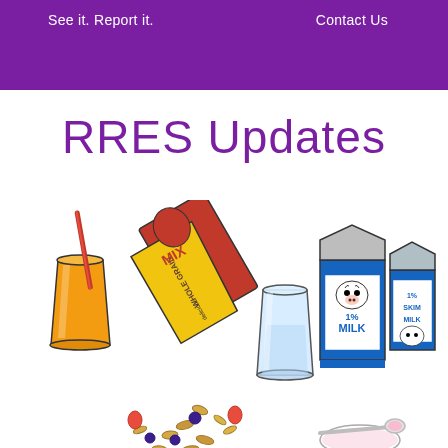See it. Report it.    Contact Us
RRES Updates
[Figure (illustration): Colorful cartoon illustration of breakfast foods: a glass of orange juice with a straw, a tilted cereal box (red and yellow, labeled 'Whole Grain') pouring out cereal with berries, a glass of water/milk, two milk cartons (1% Milk and 1% Skim Milk with cow illustration), and a spoon with a small bowl containing pink food item.]